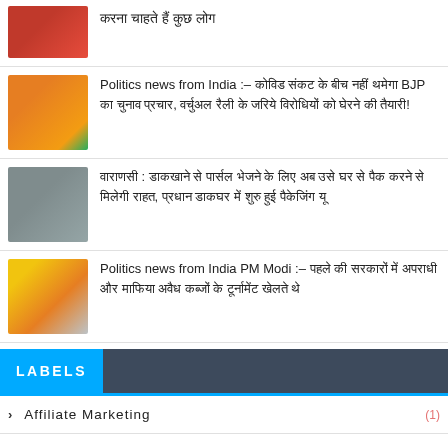करना चाहते हैं कुछ लोग
Politics news from India :– कोविड संकट के बीच नहीं थमेगा BJP का चुनाव प्रचार, वर्चुअल रैली के जरिये विरोधियों को घेरने की तैयारी!
वाराणसी : डाकखाने से पार्सल भेजने के लिए अब उसे घर से पैक करने से मिलेगी राहत, प्रधान डाकघर में शुरु हुई पैकेजिंग यू
Politics news from India PM Modi :– पहले की सरकारों में अपराधी और माफिया अवैध कब्जों के टूर्नामेंट खेलते थे
LABELS
Affiliate Marketing (1)
Current Issues In India 2021 (9)
Data Entry (2)